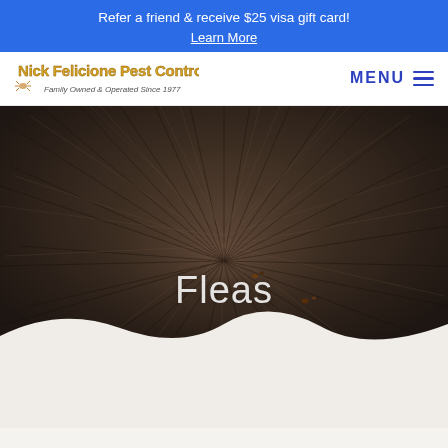Refer a friend & receive $25 visa gift card! Learn More
[Figure (logo): Nick Felicione Pest Control logo with stylized text and tagline 'Family Owned & Operated Since 1977']
MENU
[Figure (photo): Close-up photograph of dark animal fur with small fleas or flea dirt visible, serving as hero background image]
Fleas